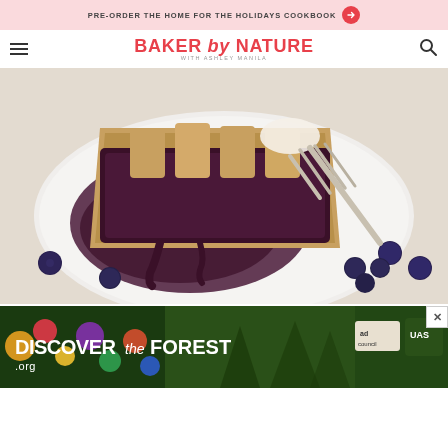PRE-ORDER THE HOME FOR THE HOLIDAYS COOKBOOK →
BAKER by NATURE WITH ASHLEY MANILA
[Figure (photo): A slice of blueberry pie on a white plate with a fork, surrounded by fresh blueberries on a white wooden surface. The pie has a golden lattice crust top with deep purple blueberry filling and cream.]
[Figure (photo): Advertisement banner for DISCOVERtheForest.org with colorful flowers and forest imagery, with Ad Council and US Forest Service logos.]